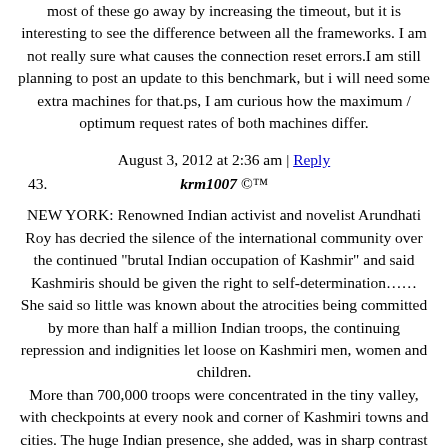most of these go away by increasing the timeout, but it is interesting to see the difference between all the frameworks. I am not really sure what causes the connection reset errors.I am still planning to post an update to this benchmark, but i will need some extra machines for that.ps, I am curious how the maximum / optimum request rates of both machines differ.
August 3, 2012 at 2:36 am | Reply
43.  krm1007 ©™
NEW YORK: Renowned Indian activist and novelist Arundhati Roy has decried the silence of the international community over the continued “brutal Indian occupation of Kashmir” and said Kashmiris should be given the right to self-determination…… She said so little was known about the atrocities being committed by more than half a million Indian troops, the continuing repression and indignities let loose on Kashmiri men, women and children. More than 700,000 troops were concentrated in the tiny valley, with checkpoints at every nook and corner of Kashmiri towns and cities. The huge Indian presence, she added, was in sharp contrast with 160,000 US troops in Iraq. Ms Roy alleged that Indian army or security personnel were